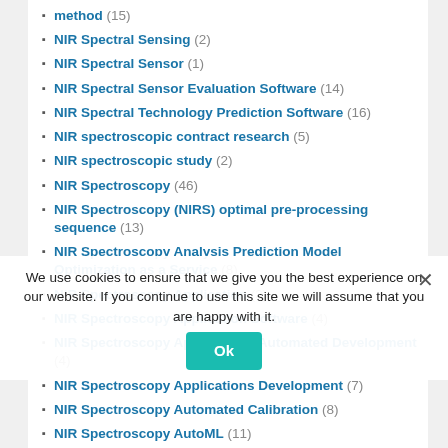method (15)
NIR Spectral Sensing (2)
NIR Spectral Sensor (1)
NIR Spectral Sensor Evaluation Software (14)
NIR Spectral Technology Prediction Software (16)
NIR spectroscopic contract research (5)
NIR spectroscopic study (2)
NIR Spectroscopy (46)
NIR Spectroscopy (NIRS) optimal pre-processing sequence (13)
NIR Spectroscopy Analysis Prediction Model Optimization as a Service (8)
NIR Spectroscopy Application (3)
NIR Spectroscopy Application Software (4)
NIR Spectroscopy Applications Automated Development (4)
NIR Spectroscopy Applications Development (7)
NIR Spectroscopy Automated Calibration (8)
NIR Spectroscopy AutoML (11)
NIR Spectroscopy Calibration (2)
NIR Spectroscopy Chemometrics Data Evaluation (11)
NIR Spectroscopy Data Engineering (6)
NIR Spectroscopy Data Science (5)
NIR Spectroscopy Deep Learning (1)
We use cookies to ensure that we give you the best experience on our website. If you continue to use this site we will assume that you are happy with it.